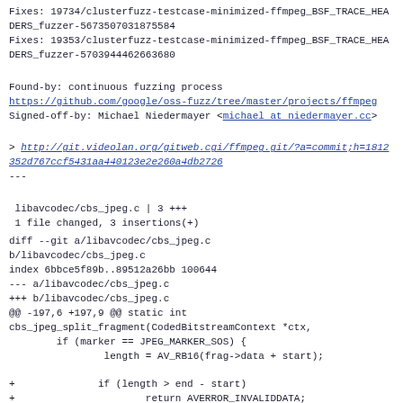Fixes: 19734/clusterfuzz-testcase-minimized-ffmpeg_BSF_TRACE_HEADERS_fuzzer-5673507031875584
Fixes: 19353/clusterfuzz-testcase-minimized-ffmpeg_BSF_TRACE_HEADERS_fuzzer-5703944462663680
Found-by: continuous fuzzing process
https://github.com/google/oss-fuzz/tree/master/projects/ffmpeg
Signed-off-by: Michael Niedermayer <michael at niedermayer.cc>
> http://git.videolan.org/gitweb.cgi/ffmpeg.git/?a=commit;h=1812352d767ccf5431aa440123e2e260a4db2726
---
libavcodec/cbs_jpeg.c | 3 +++
 1 file changed, 3 insertions(+)
diff --git a/libavcodec/cbs_jpeg.c b/libavcodec/cbs_jpeg.c
index 6bbce5f89b..89512a26bb 100644
--- a/libavcodec/cbs_jpeg.c
+++ b/libavcodec/cbs_jpeg.c
@@ -197,6 +197,9 @@ static int cbs_jpeg_split_fragment(CodedBitstreamContext *ctx,
        if (marker == JPEG_MARKER_SOS) {
                length = AV_RB16(frag->data + start);

+              if (length > end - start)
+                      return AVERROR_INVALIDDATA;